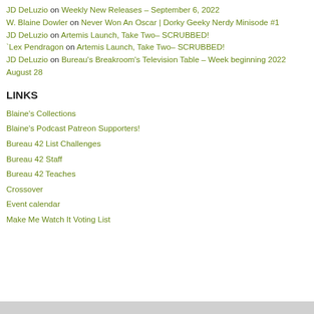JD DeLuzio on Weekly New Releases – September 6, 2022
W. Blaine Dowler on Never Won An Oscar | Dorky Geeky Nerdy Minisode #1
JD DeLuzio on Artemis Launch, Take Two– SCRUBBED!
`Lex Pendragon on Artemis Launch, Take Two– SCRUBBED!
JD DeLuzio on Bureau's Breakroom's Television Table – Week beginning 2022 August 28
LINKS
Blaine's Collections
Blaine's Podcast Patreon Supporters!
Bureau 42 List Challenges
Bureau 42 Staff
Bureau 42 Teaches
Crossover
Event calendar
Make Me Watch It Voting List